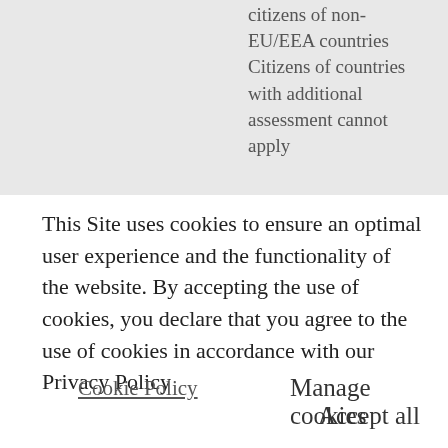| citizens of non-EU/EEA countries Citizens of countries with additional assessment cannot apply |
This Site uses cookies to ensure an optimal user experience and the functionality of the website. By accepting the use of cookies, you declare that you agree to the use of cookies in accordance with our Privacy Policy
Cookie Policy
Manage cookies
Accept all